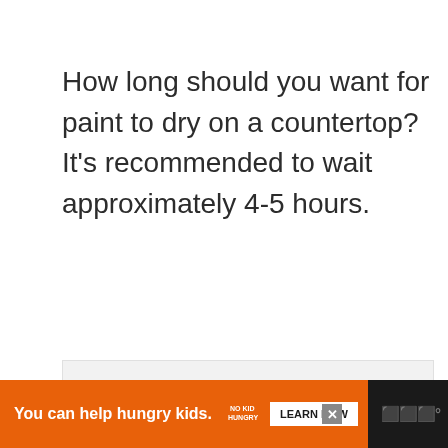How long should you want for paint to dry on a countertop? It's recommended to wait approximately 4-5 hours.
[Figure (other): Gray placeholder ad content area with three dots at bottom center]
[Figure (infographic): Advertisement banner: orange background with text 'You can help hungry kids.' and No Kid Hungry logo and LEARN HOW button, on dark background with close button and website logo]